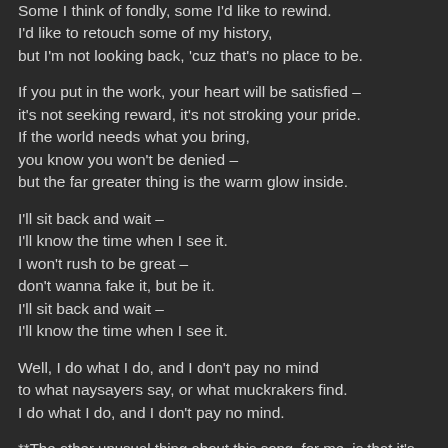Some I think of fondly, some I'd like to rewind.
I'd like to retouch some of my history,
but I'm not looking back, 'cuz that's no place to be.
If you put in the work, your heart will be satisfied –
it's not seeking reward, it's not stroking your pride.
If the world needs what you bring,
you know you won't be denied –
but the far greater thing is the warm glow inside.
I'll sit back and wait –
I'll know the time when I see it.
I won't rush to be great –
don't wanna fake it, but be it.
I'll sit back and wait –
I'll know the time when I see it.
Well, I do what I do, and I don't pay no mind
to what naysayers say, or what muckrakers find.
I do what I do, and I don't pay no mind.
**The other unusual thing about this song, for me, is that it's in 6/8 time. Generally my songs are in 4/4 time, but this is the first of two of my most recent recordings that is in 6/8.